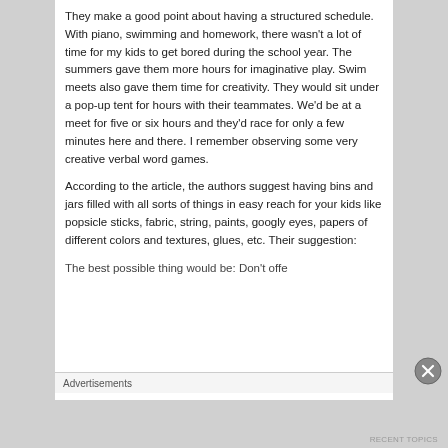They make a good point about having a structured schedule. With piano, swimming and homework, there wasn't a lot of time for my kids to get bored during the school year. The summers gave them more hours for imaginative play. Swim meets also gave them time for creativity. They would sit under a pop-up tent for hours with their teammates. We'd be at a meet for five or six hours and they'd race for only a few minutes here and there. I remember observing some very creative verbal word games.
According to the article, the authors suggest having bins and jars filled with all sorts of things in easy reach for your kids like popsicle sticks, fabric, string, paints, googly eyes, papers of different colors and textures, glues, etc. Their suggestion:
The best possible thing would be: Don't offe...
Advertisements
RECENT TOPICS